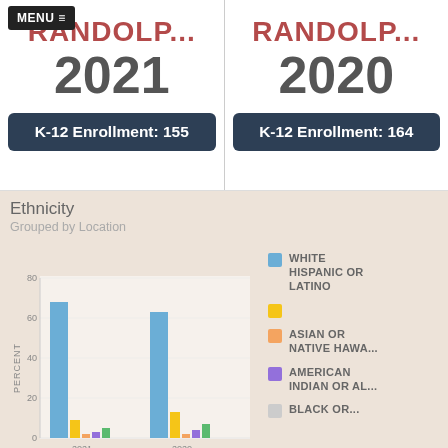MENU ≡
RANDOLP... 2021
K-12 Enrollment: 155
RANDOLP... 2020
K-12 Enrollment: 164
Ethnicity
Grouped by Location
[Figure (grouped-bar-chart): Ethnicity Grouped by Location]